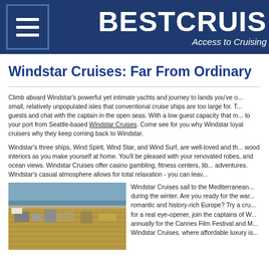BESTCRUIS... Access to Cruising
Windstar Cruises: Far From Ordinary
Climb aboard Windstar's powerful yet intimate yachts and journey to lands you've o... small, relatively unpopulated isles that conventional cruise ships are too large for. T... guests and chat with the captain in the open seas. With a low guest capacity that m... to your port from Seattle-based Windstar Cruises. Come see for you why Windstar loyal cruisers why they keep coming back to Windstar.
Windstar's three ships, Wind Spirit, Wind Star, and Wind Surf, are well-loved and th... wood interiors as you make yourself at home. You'll be pleased with your renovated robes, and ocean views. Windstar Cruises offer casino gambling, fitness centers, lib... adventures. Windstar's casual atmosphere allows for total relaxation - you can leav...
[Figure (photo): Aerial view of a Windstar cruise ship deck with wooden deck chairs, equipment, and ocean in background]
Windstar Cruises sail to the Mediterranean... during the winter. Are you ready for the war... romantic and history-rich Europe? Try a cru... for a real eye-opener, join the captains of W... annually for the Cannes Film Festival and M... Windstar Cruises, where affordable luxury is...